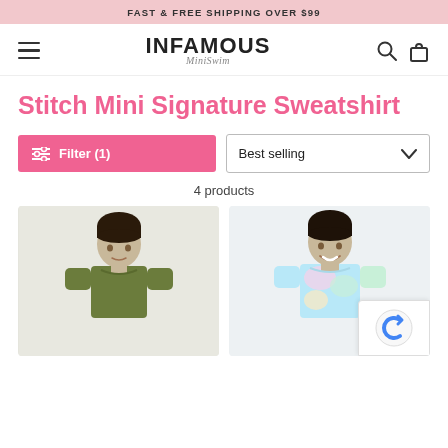FAST & FREE SHIPPING OVER $99
[Figure (logo): Infamous MiniSwim logo with hamburger menu, search and bag icons]
Stitch Mini Signature Sweatshirt
Filter (1)   Best selling
4 products
[Figure (photo): Two children wearing sweatshirts - left child in olive green sweatshirt, right child in pastel tie-dye sweatshirt]